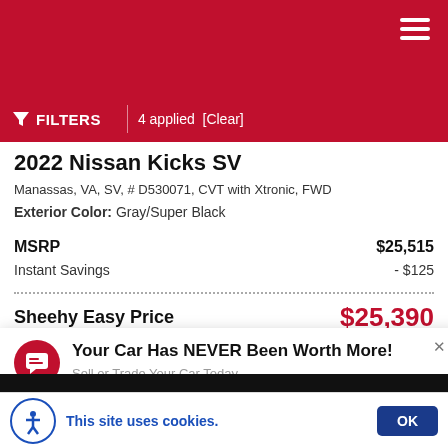FILTERS | 4 applied [Clear]
2022 Nissan Kicks SV
Manassas, VA, SV, # D530071, CVT with Xtronic, FWD
Exterior Color: Gray/Super Black
|  |  |
| --- | --- |
| MSRP | $25,515 |
| Instant Savings | - $125 |
Sheehy Easy Price  $25,390
Your Car Has NEVER Been Worth More!
Sell or Trade Your Car Today.
This site uses cookies.  OK